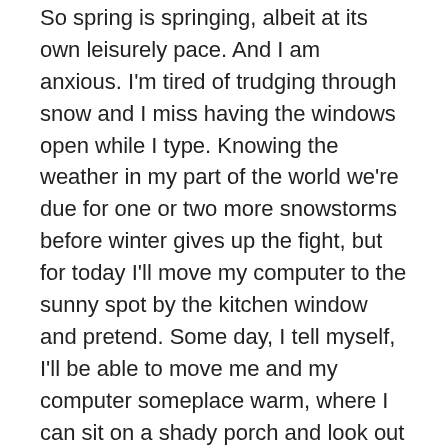So spring is springing, albeit at its own leisurely pace. And I am anxious. I'm tired of trudging through snow and I miss having the windows open while I type. Knowing the weather in my part of the world we're due for one or two more snowstorms before winter gives up the fight, but for today I'll move my computer to the sunny spot by the kitchen window and pretend. Some day, I tell myself, I'll be able to move me and my computer someplace warm, where I can sit on a shady porch and look out at the ocean while I type. Hey, we all have to have dreams, right? Goals are important, and all that. And for a writer, imagination is a prerequisite. So if I want to sit here and pretend that the palm tree on my computer screen is actually right outside my window...well, probably shouldn't mention it, or I might be getting a visit from the nice men in the white coats.
Ah, but that's the life of a writer. If we admitted to half the